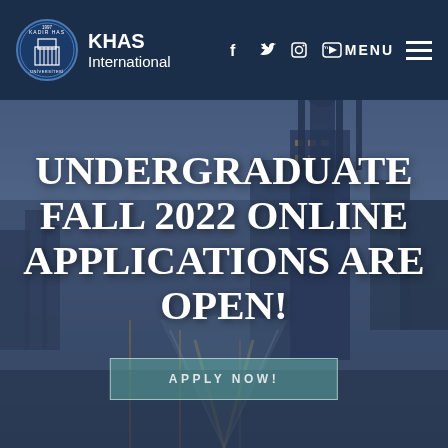KHAS International
[Figure (screenshot): Website screenshot of KHAS International university page showing a city skyline at dusk with mosque silhouettes as background image]
UNDERGRADUATE FALL 2022 ONLINE APPLICATIONS ARE OPEN!
APPLY NOW!